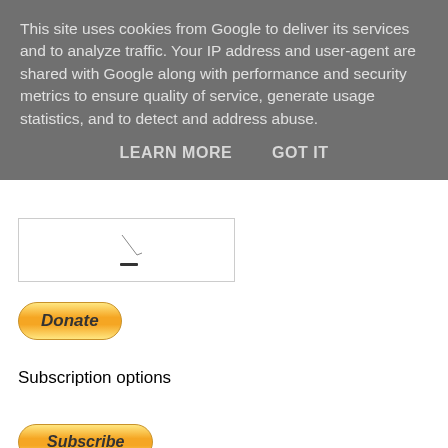This site uses cookies from Google to deliver its services and to analyze traffic. Your IP address and user-agent are shared with Google along with performance and security metrics to ensure quality of service, generate usage statistics, and to detect and address abuse.
LEARN MORE   GOT IT
[Figure (screenshot): Thumbnail image with small sketch/icon in center-right area]
[Figure (other): PayPal Donate button - yellow/gold rounded rectangle]
Subscription options
Option 1 : £3.00GBP - monthly
[Figure (other): PayPal Subscribe button - yellow/gold rounded rectangle]
[Figure (other): Payment card icons: Mastercard, Maestro, Visa, Visa Electron, American Express, Direct Debit]
Flattr this
Recent Comments